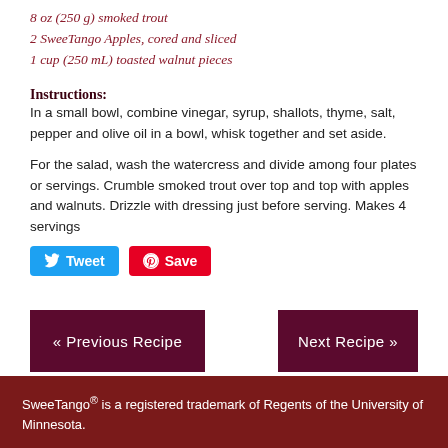8 oz (250 g) smoked trout
2 SweeTango Apples, cored and sliced
1 cup (250 mL) toasted walnut pieces
Instructions:
In a small bowl, combine vinegar, syrup, shallots, thyme, salt, pepper and olive oil in a bowl, whisk together and set aside.
For the salad, wash the watercress and divide among four plates or servings. Crumble smoked trout over top and top with apples and walnuts. Drizzle with dressing just before serving. Makes 4 servings
[Figure (other): Social sharing buttons: Tweet (Twitter) and Save (Pinterest)]
« Previous Recipe
Next Recipe »
SweeTango® is a registered trademark of Regents of the University of Minnesota.